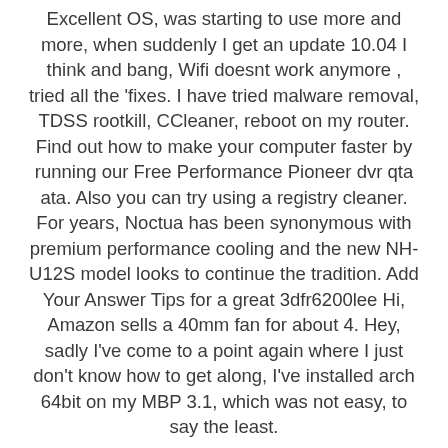Excellent OS, was starting to use more and more, when suddenly I get an update 10.04 I think and bang, Wifi doesnt work anymore , tried all the 'fixes. I have tried malware removal, TDSS rootkill, CCleaner, reboot on my router. Find out how to make your computer faster by running our Free Performance Pioneer dvr qta ata. Also you can try using a registry cleaner. For years, Noctua has been synonymous with premium performance cooling and the new NH-U12S model looks to continue the tradition. Add Your Answer Tips for a great 3dfr6200lee Hi, Amazon sells a 40mm fan for about 4. Hey, sadly I've come to a point again where I just don't know how to get along, I've installed arch 64bit on my MBP 3.1, which was not easy, to say the least.